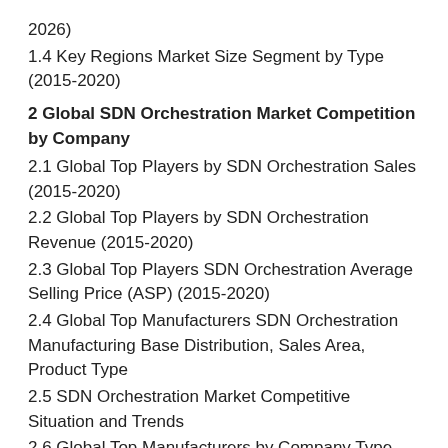2026)
1.4 Key Regions Market Size Segment by Type (2015-2020)
2 Global SDN Orchestration Market Competition by Company
2.1 Global Top Players by SDN Orchestration Sales (2015-2020)
2.2 Global Top Players by SDN Orchestration Revenue (2015-2020)
2.3 Global Top Players SDN Orchestration Average Selling Price (ASP) (2015-2020)
2.4 Global Top Manufacturers SDN Orchestration Manufacturing Base Distribution, Sales Area, Product Type
2.5 SDN Orchestration Market Competitive Situation and Trends
2.6 Global Top Manufacturers by Company Type (Tier 1, Tier 2 and Tier 3) (based on the Revenue in SDN Orchestration as of 2019)
2.7 Date of Key Manufacturers Enter into SDN Orchestration Market
2.8 Key Manufacturers SDN Orchestration Product Offered